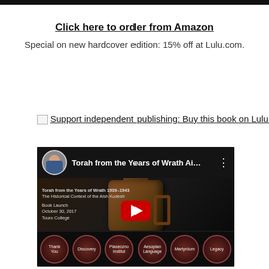Click here to order from Amazon
Special on new hardcover edition: 15% off at Lulu.com.
[Figure (other): Lulu support independent publishing button/link: 'Support independent publishing: Buy this book on Lulu.']
[Figure (other): YouTube video thumbnail for 'Torah from the Years of Wrath Ai...' showing a book launch at Touro College on October 30, 2017, with chapters: Thank You, Discovery, Piaseczno Institut, Aesopian Language, Martyrdom, Legacy. Features a rusted canister on handwritten background, red play button, and speaker avatar.]